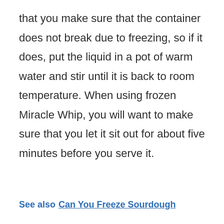that you make sure that the container does not break due to freezing, so if it does, put the liquid in a pot of warm water and stir until it is back to room temperature. When using frozen Miracle Whip, you will want to make sure that you let it sit out for about five minutes before you serve it.
See also  Can You Freeze Sourdough